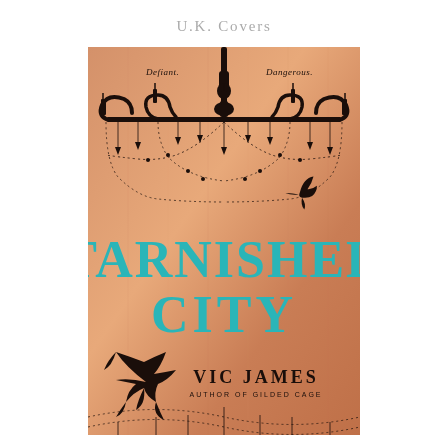U.K. Covers
[Figure (illustration): UK book cover for 'Tarnished City' by Vic James, author of Gilded Cage. Copper/bronze gradient background with ornate black chandelier silhouette and swag details at top. Two black crow/raven silhouettes. Teal/turquoise large title text 'TARNISHED CITY'. Tagline 'Defiant. Dangerous.' in dark serif text. Author name 'VIC JAMES' in dark capitals and 'AUTHOR OF GILDED CAGE' subtitle below.]